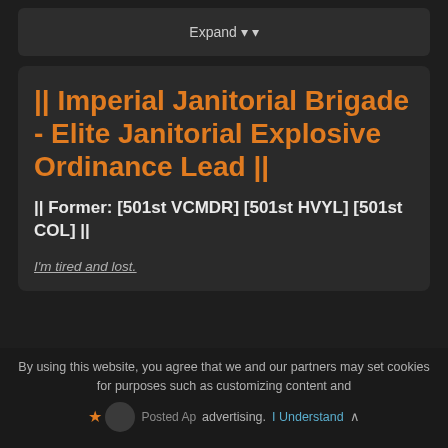Expand
|| Imperial Janitorial Brigade - Elite Janitorial Explosive Ordinance Lead ||
|| Former: [501st VCMDR] [501st HVYL] [501st COL] ||
I'm tired and lost.
By using this website, you agree that we and our partners may set cookies for purposes such as customizing content and advertising. I Understand